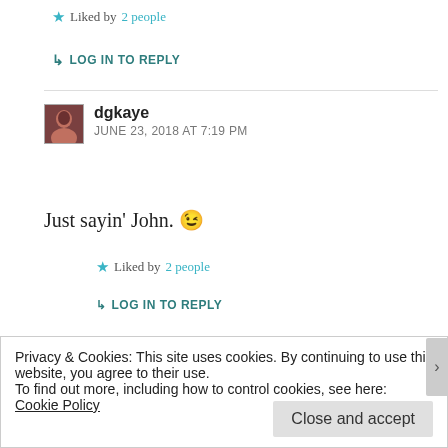★ Liked by 2 people
↳ LOG IN TO REPLY
dgkaye
JUNE 23, 2018 AT 7:19 PM
Just sayin' John. 😉
★ Liked by 2 people
↳ LOG IN TO REPLY
Privacy & Cookies: This site uses cookies. By continuing to use this website, you agree to their use.
To find out more, including how to control cookies, see here: Cookie Policy
Close and accept